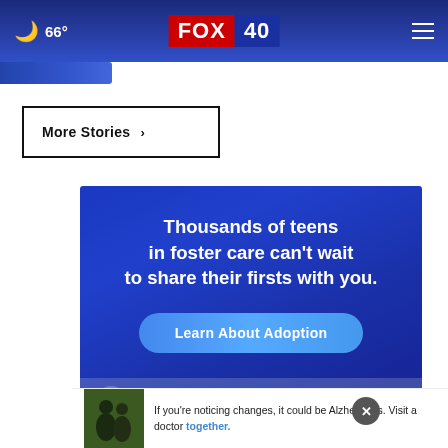66° FOX 40
More Stories ›
[Figure (illustration): Advertisement banner for AdoptUSKids: blue background with text 'Thousands of teens in foster care can't wait to share their firsts with you.' and a 'Learn About Adoption' button, with AdoptUSKids logo at the bottom.]
If you're noticing changes, it could be Alzheimer's. Visit a doctor together.